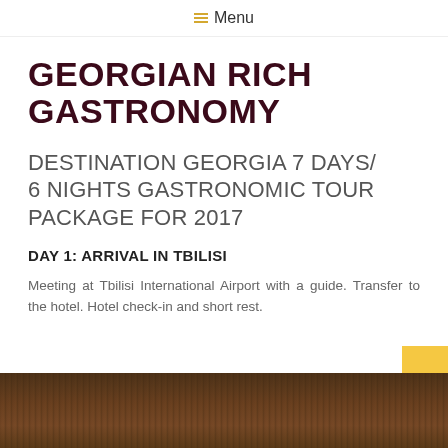Menu
GEORGIAN RICH GASTRONOMY
DESTINATION GEORGIA 7 DAYS/ 6 NIGHTS GASTRONOMIC TOUR PACKAGE FOR 2017
DAY 1: ARRIVAL IN TBILISI
Meeting at Tbilisi International Airport with a guide. Transfer to the hotel. Hotel check-in and short rest.
[Figure (photo): Photo of Georgian food or market scene with hanging meats/sausages in dark warm tones]